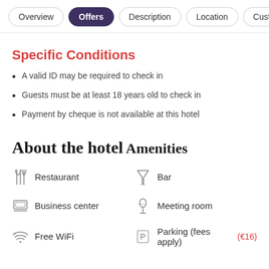Overview | Offers | Description | Location | Customer
Specific Conditions
A valid ID may be required to check in
Guests must be at least 18 years old to check in
Payment by cheque is not available at this hotel
About the hotel
Amenities
Restaurant | Bar | Business center | Meeting room | Free WiFi | Parking (fees apply) (€16)